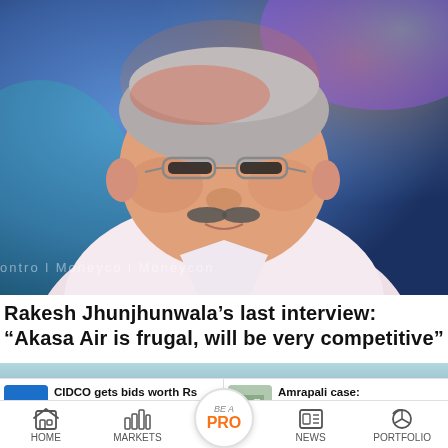[Figure (illustration): Stylized illustrated portrait of Rakesh Jhunjhunwala, a heavyset man with glasses and a moustache, wearing a white shirt, against a colorful abstract blue and purple background. Watermark text 'Moneycontrol' visible.]
Rakesh Jhunjhunwala’s last interview: "Akasa Air is frugal, will be very competitive"
[Figure (photo): Partial thumbnail image in a blue-green teal color — appears to be a partial view of another article image strip.]
CIDCO gets bids worth Rs 678 [text cut off]
Amrapali case: Supreme Court grants [text cut off]
HOME   MARKETS   BE A PRO   NEWS   PORTFOLIO